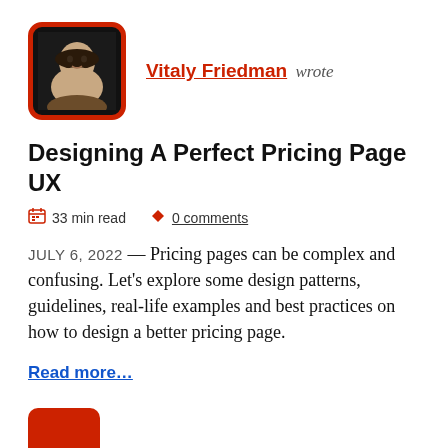Vitaly Friedman wrote
Designing A Perfect Pricing Page UX
33 min read   0 comments
JULY 6, 2022 — Pricing pages can be complex and confusing. Let's explore some design patterns, guidelines, real-life examples and best practices on how to design a better pricing page.
Read more…